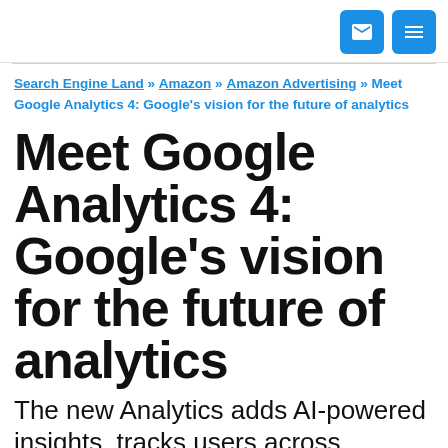[email icon] [menu icon]
Search Engine Land » Amazon » Amazon Advertising » Meet Google Analytics 4: Google's vision for the future of analytics
Meet Google Analytics 4: Google's vision for the future of analytics
The new Analytics adds AI-powered insights, tracks users across devices and provides more granular data controls